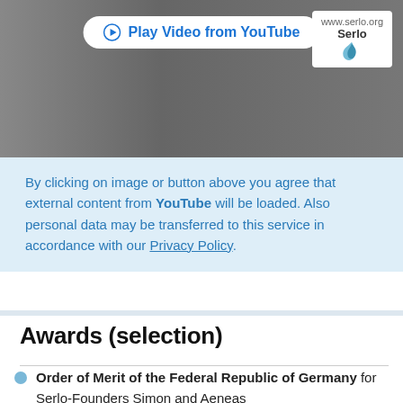[Figure (screenshot): Video thumbnail showing a person in a white shirt with a lavalier microphone, with a bookshelf in the background. A 'Play Video from YouTube' button overlay is shown at the top center, and the Serlo logo (www.serlo.org) appears in the top right corner.]
By clicking on image or button above you agree that external content from YouTube will be loaded. Also personal data may be transferred to this service in accordance with our Privacy Policy.
Awards (selection)
Order of Merit of the Federal Republic of Germany for Serlo-Founders Simon and Aeneas